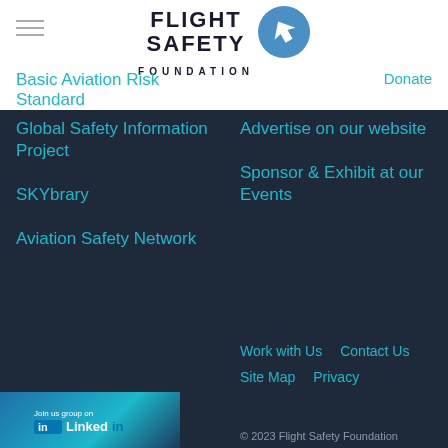[Figure (logo): Flight Safety Foundation logo with stylized aircraft icon and text FLIGHT SAFETY FOUNDATION]
Donate
Basic Aviation Risk Standard
Global Safety Information Project
SKYbrary
Aviation Safety Network
Advertise on our website
Sponsor & Exhibit at our Events
Work with Us
Contact Us
Site Map
Privacy
[Figure (logo): LinkedIn badge/logo area]
© 2023 Flight Safety Foundation